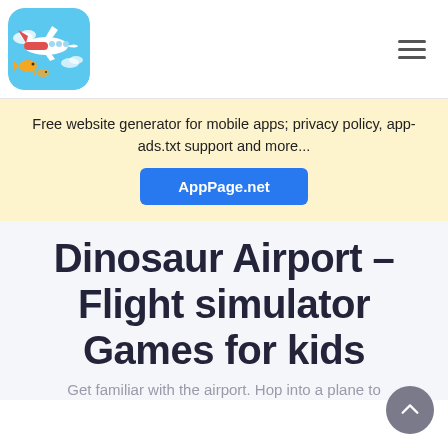[Figure (screenshot): App logo: cartoon airplane and fish on blue background, rounded square icon]
Free website generator for mobile apps; privacy policy, app-ads.txt support and more...
AppPage.net
Dinosaur Airport – Flight simulator Games for kids
Get familiar with the airport. Hop into a plane to